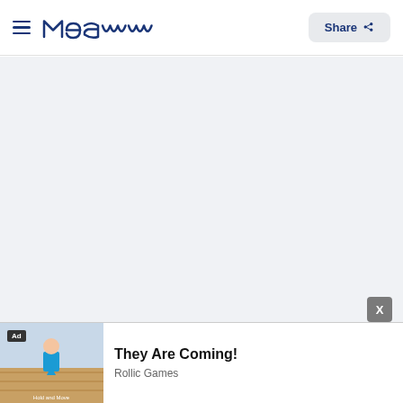Meaww | Share
[Figure (other): Large gray empty content area placeholder]
[Figure (screenshot): Advertisement banner: 'They Are Coming!' by Rollic Games with Ad badge and game screenshot thumbnail]